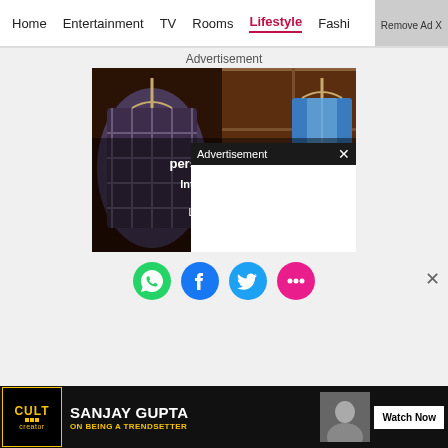Home  Entertainment  TV  Rooms  Lifestyle  Fashi
Advertisement
[Figure (photo): Ad image showing clothing on hangers in a wood-paneled closet with text: 'personal shopper', 'Introducing Pers... by Prime W...', 'Let us do the sh...', 'Learn m...']
Advertisement  ×
[Figure (screenshot): Social sharing icons row: WhatsApp (green), Facebook (blue), Twitter (blue), Pink chat bubble, with X close button]
[Figure (screenshot): Bottom banner ad: CULT Creator logo, SANJAY GUPTA ON BEING A TRENDSETTER, Watch Now button, PinkVilla badge, close X]